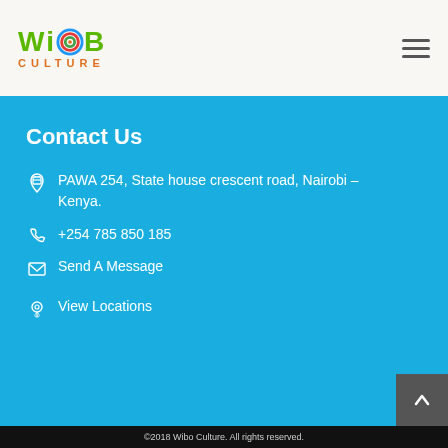[Figure (logo): WiBo Culture logo with colorful circle O and orange CULTURE text]
Contact Us
PAWA 254, State house crescent road, Nairobi – Kenya.
+254 785 850 185
Send A Message
View Locations
©2018 Wibo Culture. All rights reserved.